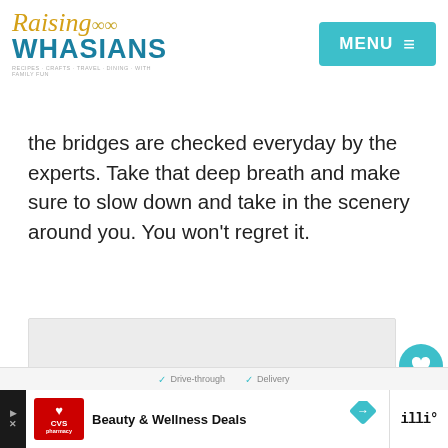Raising Whasians — MENU
the bridges are checked everyday by the experts. Take that deep breath and make sure to slow down and take in the scenery around you. You won't regret it.
[Figure (photo): Image placeholder with carousel dots at bottom]
Drive-through  Delivery | CVS Pharmacy Beauty & Wellness Deals ad bar